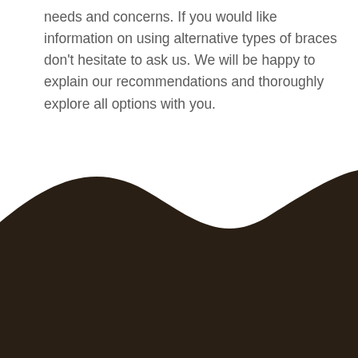needs and concerns. If you would like information on using alternative types of braces don't hesitate to ask us. We will be happy to explain our recommendations and thoroughly explore all options with you.
[Figure (illustration): Decorative dark brown wavy shape filling the bottom portion of the page, with a wave-like curved top edge.]